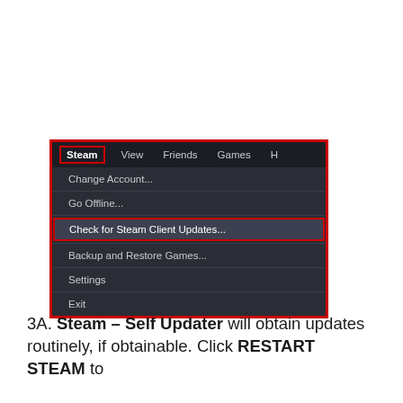[Figure (screenshot): Steam application menu screenshot showing the Steam menu open with options: Change Account..., Go Offline..., Check for Steam Client Updates... (highlighted with red border), Backup and Restore Games..., Settings, Exit. The 'Steam' menu bar item and 'Check for Steam Client Updates...' item are both highlighted with red borders.]
3A. Steam – Self Updater will obtain updates routinely, if obtainable. Click RESTART STEAM to